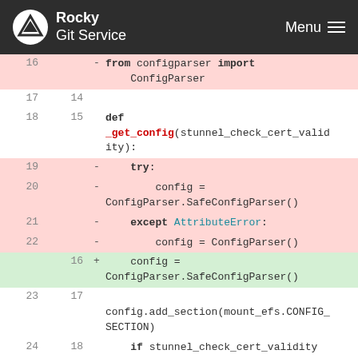Rocky Git Service  Menu
[Figure (screenshot): Code diff view showing Python code changes. Lines 16-25 of a git diff. Removed lines (pink background): line 16 'from configparser import ConfigParser', line 19 'try:', line 20 'config = ConfigParser.SafeConfigParser()', line 21 'except AttributeError:', line 22 'config = ConfigParser()'. Added line (green background): line 16 'config = ConfigParser.SafeConfigParser()'. Neutral lines show def _get_config(stunnel_check_cert_validity), config.add_section, if stunnel_check_cert_validity is not None, config.set calls.]